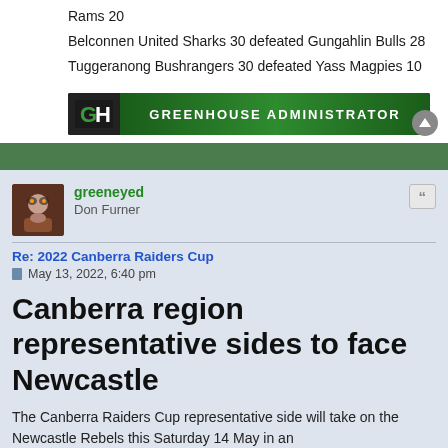Rams 20
Belconnen United Sharks 30 defeated Gungahlin Bulls 28
Tuggeranong Bushrangers 30 defeated Yass Magpies 10
[Figure (other): Greenhouse Administrator advertisement banner with logo]
greeneyed
Don Furner
Re: 2022 Canberra Raiders Cup
May 13, 2022, 6:40 pm
Canberra region representative sides to face Newcastle
The Canberra Raiders Cup representative side will take on the Newcastle Rebels this Saturday 14 May in an